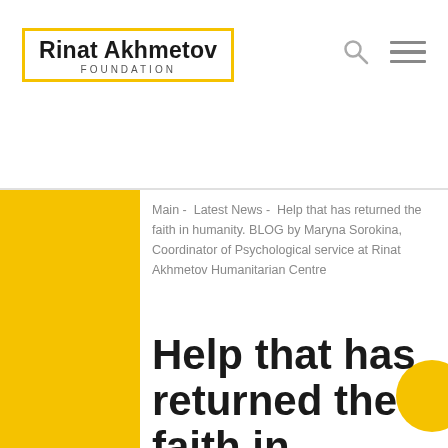Rinat Akhmetov FOUNDATION
Main -  Latest News -  Help that has returned the faith in humanity. BLOG by Maryna Sorokina, Coordinator of Psychological service at Rinat Akhmetov Humanitarian Centre
Help that has returned the faith in humanity. BLOG